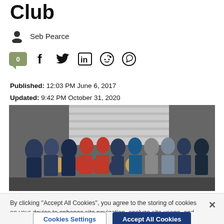Club
Seb Pearce
[Figure (infographic): Social sharing icons row: comment badge (0), Facebook, Twitter, LinkedIn, Reddit, WhatsApp]
Published: 12:03 PM June 6, 2017
Updated: 9:42 PM October 31, 2020
[Figure (photo): Group photo of boxing club members including children and adults in a gym/garage setting, some wearing medals and boxing gear]
By clicking "Accept All Cookies", you agree to the storing of cookies on your device to enhance site navigation, analyze site usage, and assist in our marketing efforts.
Cookies Settings | Accept All Cookies